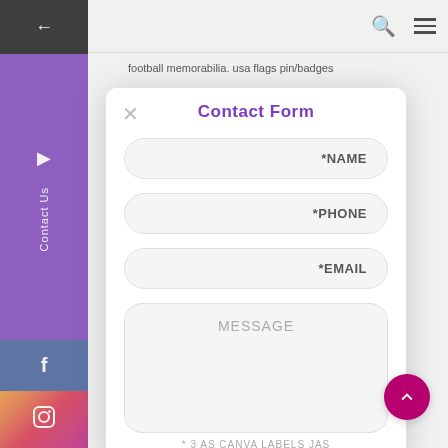PMD
football memorabilia. usa flags pin/badges
Set Promo. DEN TEA LABELS mark Pack w en Always Plates 15cm Tea Coffee urful acialist Patch MUG GN ROACH IES
[Figure (screenshot): Contact Form modal dialog with fields for NAME, PHONE, EMAIL, and MESSAGE on a website with PMD logo, search icon, hamburger menu, left sidebar with purple Contact Us section, Facebook and Instagram icons]
Contact Form
*NAME
*PHONE
*EMAIL
MESSAGE